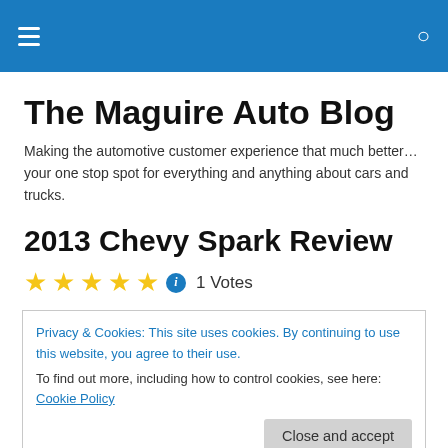The Maguire Auto Blog — navigation header bar
The Maguire Auto Blog
Making the automotive customer experience that much better…your one stop spot for everything and anything about cars and trucks.
2013 Chevy Spark Review
★★★★★ ℹ 1 Votes
Privacy & Cookies: This site uses cookies. By continuing to use this website, you agree to their use.
To find out more, including how to control cookies, see here: Cookie Policy
[Close and accept]
The bad: The Bluetooth streaming tech can't handle